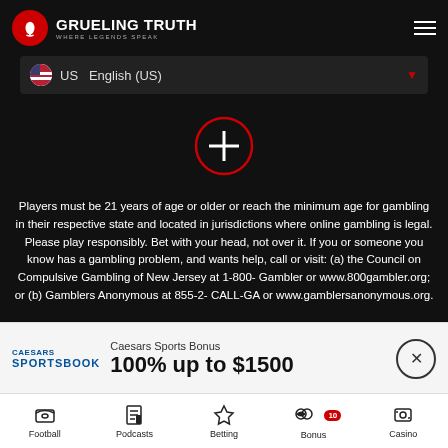THE GRUELING TRUTH — WHERE LEGENDS SPEAK
US  English (US)
[Figure (other): Red circle with plus sign icon]
Players must be 21 years of age or older or reach the minimum age for gambling in their respective state and located in jurisdictions where online gambling is legal. Please play responsibly. Bet with your head, not over it. If you or someone you know has a gambling problem, and wants help, call or visit: (a) the Council on Compulsive Gambling of New Jersey at 1-800-Gambler or www.800gambler.org; or (b) Gamblers Anonymous at 855-2-CALL-GA or www.gamblersanonymous.org.
Trading financial products carries a high risk to your capital, especially trading leverage products such as CFDs. CFDs are complex instruments and come with a high risk of losing money rapidly due to leverage.
Caesars Sports Bonus
100% up to $1500
Football  Podcasts  Betting  Bonus  Casino